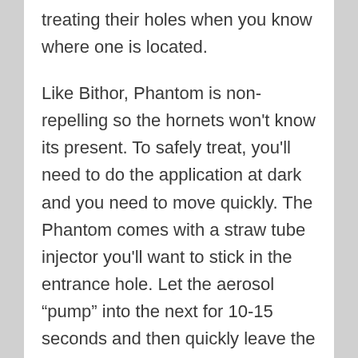treating their holes when you know where one is located.
Like Bithor, Phantom is non-repelling so the hornets won't know its present. To safely treat, you'll need to do the application at dark and you need to move quickly. The Phantom comes with a straw tube injector you'll want to stick in the entrance hole. Let the aerosol “pump” into the next for 10-15 seconds and then quickly leave the area. Do this treatment nightly for at least 3 nights and by the 3rd or 4th night, the nest will start to die. By one week, it should be completely dead. The advantage of